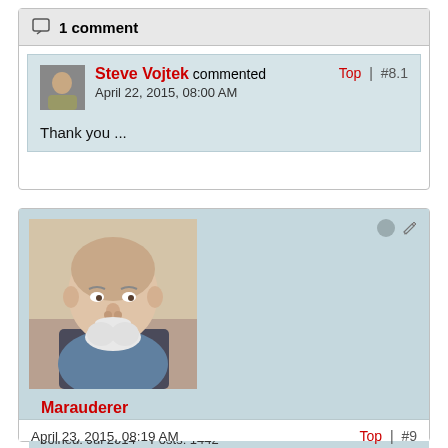1 comment
Steve Vojtek commented
April 22, 2015, 08:00 AM
Top | #8.1
Thank you ...
[Figure (photo): Profile photo of an elderly bald man with white mustache and beard, wearing a blue shirt]
Marauderer
Founding Member
Joined: Jul 2014    Posts: 1442
Location: Powder Springs, Georgia
April 23, 2015, 08:19 AM
Top | #9
Great thread Henrik. Brenda and I usually have lamb chops off the grill. I have never tried the leg of lamb but, after reading